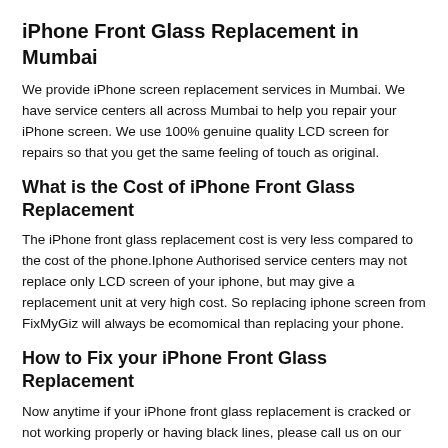iPhone Front Glass Replacement in Mumbai
We provide iPhone screen replacement services in Mumbai. We have service centers all across Mumbai to help you repair your iPhone screen. We use 100% genuine quality LCD screen for repairs so that you get the same feeling of touch as original.
What is the Cost of iPhone Front Glass Replacement
The iPhone front glass replacement cost is very less compared to the cost of the phone.Iphone Authorised service centers may not replace only LCD screen of your iphone, but may give a replacement unit at very high cost. So replacing iphone screen from FixMyGiz will always be ecomomical than replacing your phone.
How to Fix your iPhone Front Glass Replacement
Now anytime if your iPhone front glass replacement is cracked or not working properly or having black lines, please call us on our helpline number : 022 43443333. We have complete stock of all Macbook LCD screens at our repair